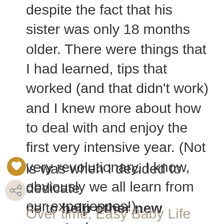despite the fact that his sister was only 18 months older. There were things that I had learned, tips that worked (and that didn't work) and I knew more about how to deal with and enjoy the first very intensive year. (Not very revolutionary, I know, obviously we all learn from our experiences!)
This was when I decided to dedicate time to help other new parents, by starting a blog filled with practical been-there-done-that tips on baby care
Over time, Easy Baby Life has grown to